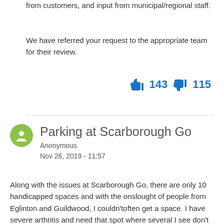from customers, and input from municipal/regional staff.
We have referred your request to the appropriate team for their review.
👍 143  👎 115
Parking at Scarborough Go
Anonymous
Nov 26, 2019 - 11:57
Along with the issues at Scarborough Go, there are only 10 handicapped spaces and with the onslought of people from Eglinton and Guildwood, I couldn'toften get a space. I have severe arthritis and need that spot where several I see don't need the space an are being used for convenience. I